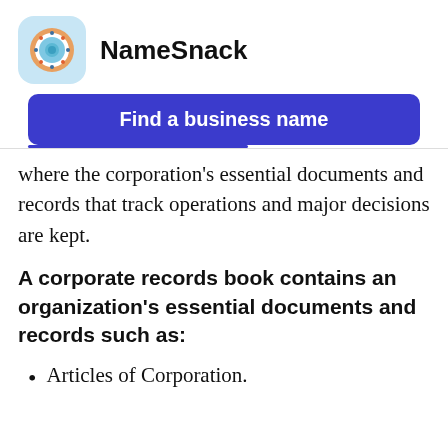[Figure (logo): NameSnack logo: donut/ring icon on light blue rounded square background]
NameSnack
[Figure (infographic): Blue button with white bold text: Find a business name]
where the corporation's essential documents and records that track operations and major decisions are kept.
A corporate records book contains an organization's essential documents and records such as:
Articles of Corporation.